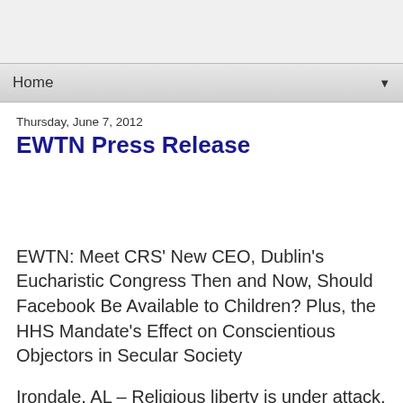Home ▼
Thursday, June 7, 2012
EWTN Press Release
EWTN: Meet CRS' New CEO, Dublin's Eucharistic Congress Then and Now, Should Facebook Be Available to Children? Plus, the HHS Mandate's Effect on Conscientious Objectors in Secular Society
Irondale, AL – Religious liberty is under attack. Hear